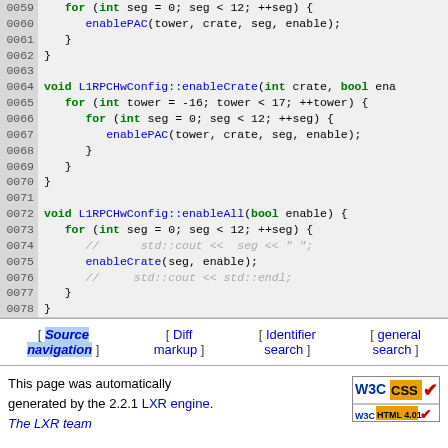[Figure (screenshot): Source code listing lines 0059-0078 showing C++ functions enableCrate and enableAll of L1RPCHwConfig class]
[ Source navigation ] [ Diff markup ] [ Identifier search ] [ general search ]
This page was automatically generated by the 2.2.1 LXR engine. The LXR team
[Figure (logo): W3C CSS and W3C HTML 4.01 validation badges]